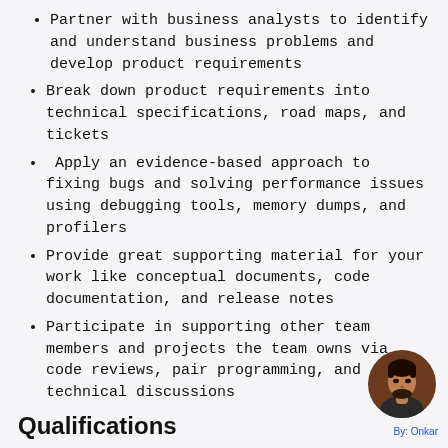Partner with business analysts to identify and understand business problems and develop product requirements
Break down product requirements into technical specifications, road maps, and tickets
Apply an evidence-based approach to fixing bugs and solving performance issues using debugging tools, memory dumps, and profilers
Provide great supporting material for your work like conceptual documents, code documentation, and release notes
Participate in supporting other team members and projects the team owns via code reviews, pair programming, and technical discussions
Qualifications
A degree in an associated field or equivalent
[Figure (photo): Circular avatar photo of a person (Onkar) in the bottom right corner]